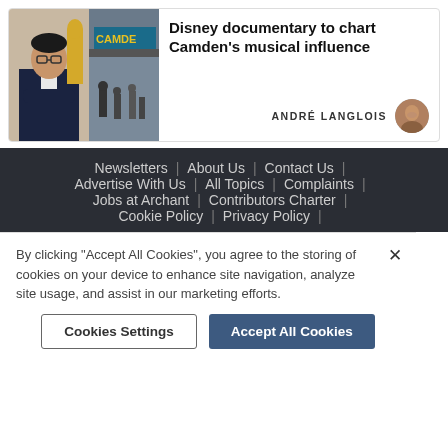[Figure (photo): Article card with two photos: a man in suit with crossed arms next to an Oscar statue, and a street scene under a Camden sign]
Disney documentary to chart Camden's musical influence
ANDRÉ LANGLOIS
Newsletters | About Us | Contact Us | Advertise With Us | All Topics | Complaints | Jobs at Archant | Contributors Charter | Cookie Policy | Privacy Policy |
By clicking "Accept All Cookies", you agree to the storing of cookies on your device to enhance site navigation, analyze site usage, and assist in our marketing efforts.
Cookies Settings
Accept All Cookies